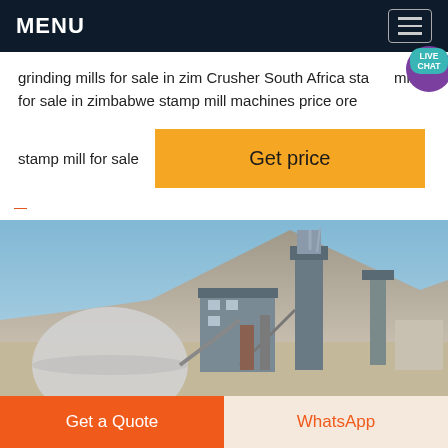MENU
grinding mills for sale in zim Crusher South Africa stamp mill for sale in zimbabwe stamp mill machines price ore
stamp mill for sale
Get price
[Figure (photo): Industrial mining/milling facility with large metal structures, tanks, conveyors, and mountains in the background under a blue sky.]
Get a Quote
WhatsApp